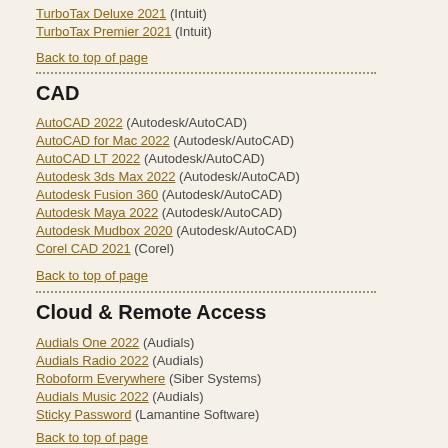TurboTax Deluxe 2021 (Intuit)
TurboTax Premier 2021 (Intuit)
Back to top of page
CAD
AutoCAD 2022 (Autodesk/AutoCAD)
AutoCAD for Mac 2022 (Autodesk/AutoCAD)
AutoCAD LT 2022 (Autodesk/AutoCAD)
Autodesk 3ds Max 2022 (Autodesk/AutoCAD)
Autodesk Fusion 360 (Autodesk/AutoCAD)
Autodesk Maya 2022 (Autodesk/AutoCAD)
Autodesk Mudbox 2020 (Autodesk/AutoCAD)
Corel CAD 2021 (Corel)
Back to top of page
Cloud & Remote Access
Audials One 2022 (Audials)
Audials Radio 2022 (Audials)
Roboform Everywhere (Siber Systems)
Audials Music 2022 (Audials)
Sticky Password (Lamantine Software)
Back to top of page
Graphic Design & Animation
AfterShot Pro 3 (Corel)
CorelDRAW Graphics Suite 2022 (Corel)
CorelDRAW Technical Suite Subscription (Corel)